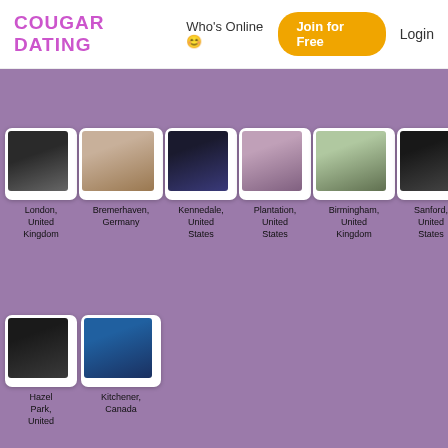COUGAR DATING Who's Online 😊 | Join for Free | Login
[Figure (screenshot): Profile photo 1 - London, United Kingdom]
London, United Kingdom
[Figure (screenshot): Profile photo 2 - Bremerhaven, Germany]
Bremerhaven, Germany
[Figure (screenshot): Profile photo 3 - Kennedale, United States]
Kennedale, United States
[Figure (screenshot): Profile photo 4 - Plantation, United States]
Plantation, United States
[Figure (screenshot): Profile photo 5 - Birmingham, United Kingdom]
Birmingham, United Kingdom
[Figure (screenshot): Profile photo 6 - Sanford, United States]
Sanford, United States
[Figure (screenshot): Profile photo 7 (partial) - partially visible]
[Figure (screenshot): Profile photo 8 - Hazel Park, United]
Hazel Park, United
[Figure (screenshot): Profile photo 9 - Kitchener, Canada]
Kitchener, Canada